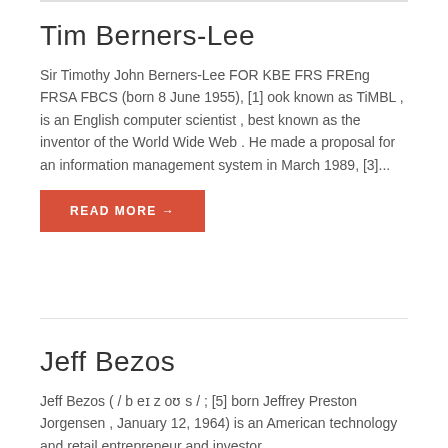Tim Berners-Lee
Sir Timothy John Berners-Lee FOR KBE FRS FREng FRSA FBCS (born 8 June 1955), [1] ook known as TiMBL , is an English computer scientist , best known as the inventor of the World Wide Web . He made a proposal for an information management system in March 1989, [3]...
READ MORE →
Jeff Bezos
Jeff Bezos ( / b eɪ z oʊ s / ; [5] born Jeffrey Preston Jorgensen , January 12, 1964) is an American technology and retail entrepreneur and investor.